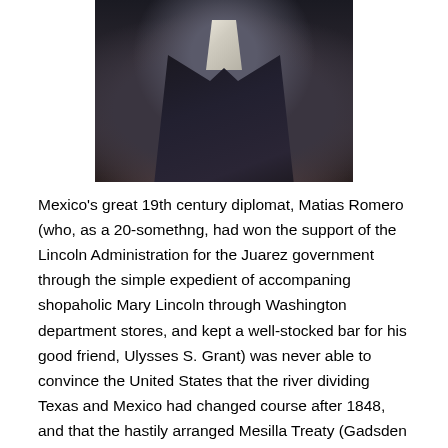[Figure (photo): Old photograph portrait of Matias Romero, showing a person in a dark jacket with light shirt/cravat visible at top, dark toned image]
Mexico's great 19th century diplomat, Matias Romero (who, as a 20-somethng, had won the support of the Lincoln Administration for the Juarez government through the simple expedient of accompaning shopaholic Mary Lincoln through Washington department stores, and kept a well-stocked bar for his good friend, Ulysses S. Grant) was never able to convince the United States that the river dividing Texas and Mexico had changed course after 1848, and that the hastily arranged Mesilla Treaty (Gadsden Purchase) of 1855 was never properly